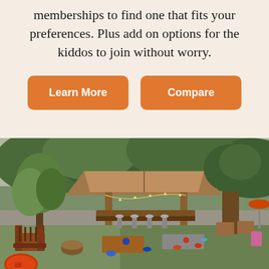memberships to find one that fits your preferences. Plus add on options for the kiddos to join without worry.
Learn More
Compare
[Figure (photo): Outdoor patio area with a wooden pavilion/bar structure, string lights, Adirondack chairs, cornhole boards on grass, and lush green trees in the background.]